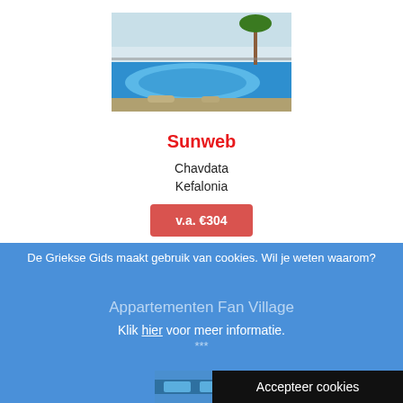[Figure (photo): Swimming pool with blue water, rocky surroundings and a palm tree in the background, at a resort.]
Sunweb
Chavdata
Kefalonia
v.a. €304
De Griekse Gids maakt gebruik van cookies. Wil je weten waarom?
Appartementen Fan Village
Klik hier voor meer informatie.
***
Accepteer cookies